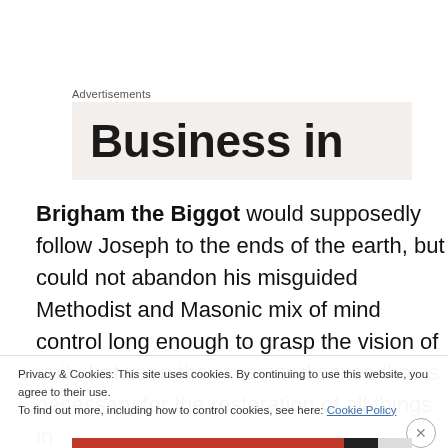Advertisements
[Figure (other): Advertisement banner showing partial text 'Business in' on a light beige background]
Brigham the Biggot would supposedly follow Joseph to the ends of the earth, but could not abandon his misguided Methodist and Masonic mix of mind control long enough to grasp the vision of unity between the races and sexes that is necessary for the restoration of all things in
Privacy & Cookies: This site uses cookies. By continuing to use this website, you agree to their use.
To find out more, including how to control cookies, see here: Cookie Policy
Close and accept